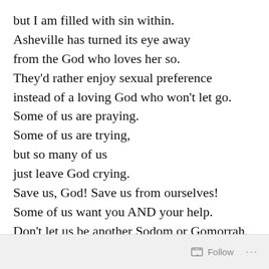but I am filled with sin within.
Asheville has turned its eye away
from the God who loves her so.
They'd rather enjoy sexual preference
instead of a loving God who won't let go.
Some of us are praying.
Some of us are trying,
but so many of us
just leave God crying.
Save us, God! Save us from ourselves!
Some of us want you AND your help.
Don't let us be another Sodom or Gomorrah.
Please save our wicked city!
Please cleanse us from our filth!
Follow ...